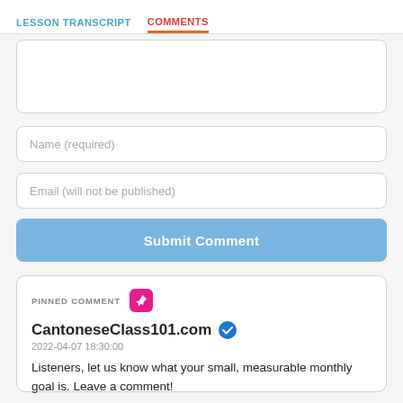LESSON TRANSCRIPT   COMMENTS
[Figure (screenshot): Empty textarea comment input box]
Name (required)
Email (will not be published)
Submit Comment
PINNED COMMENT
CantoneseClass101.com
2022-04-07 18:30:00
Listeners, let us know what your small, measurable monthly goal is. Leave a comment!